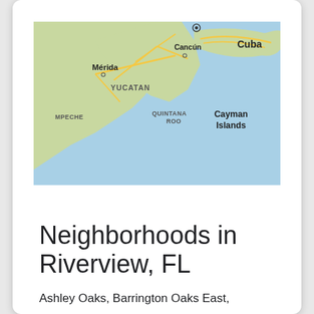[Figure (map): Google Maps view showing the Gulf of Mexico region including Mérida, Cancún, Yucatan, Quintana Roo, Campeche, Cuba, and Cayman Islands. Yellow roads on green/tan land with light blue ocean.]
Neighborhoods in Riverview, FL
Ashley Oaks, Barrington Oaks East, Bloomingdale Cove, Bloomingdale Hills, Bloomingdale Hills, Bloomingdale